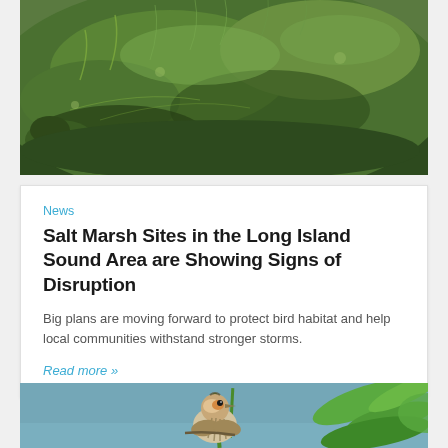[Figure (photo): Photograph of a salt marsh with green grass and shrubs on a hillside]
News
Salt Marsh Sites in the Long Island Sound Area are Showing Signs of Disruption
Big plans are moving forward to protect bird habitat and help local communities withstand stronger storms.
Read more »
[Figure (photo): Close-up photograph of a small sparrow bird perched among green leafy plants against a blue-grey sky background]